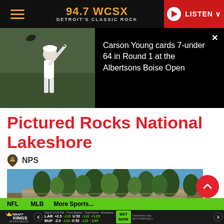94.7 WCSX — Detroit's Classic Rock — LISTEN
[Figure (screenshot): News overlay showing golfer Carson Young mid-swing with headline: Carson Young cards 7-under 64 in Round 1 at the Albertsons Boise Open]
Pictured Rocks National Lakeshore
NPS
[Figure (photo): Landscape photo of Pictured Rocks National Lakeshore showing tall trees atop sandstone cliffs with blue sky]
NFL  MLB  More Sports...  |  DraftKings Sportsbook: Sep 9 12:20 AM  Point Spread  Total Points  Moneyline  LAR +2.5 -110  U 52 -110  +115  BUF -2.5 -110  O 52 -110  -135  BET NOW  Odds/lines subj  See DraftKings.c